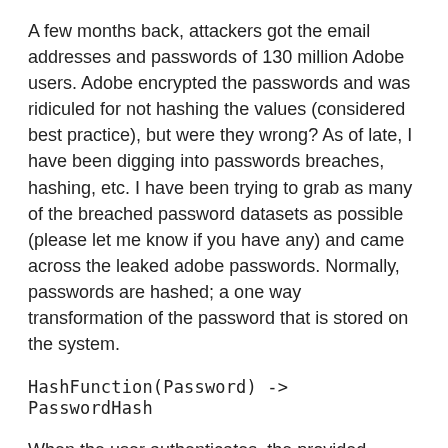A few months back, attackers got the email addresses and passwords of 130 million Adobe users. Adobe encrypted the passwords and was ridiculed for not hashing the values (considered best practice), but were they wrong? As of late, I have been digging into passwords breaches, hashing, etc. I have been trying to grab as many of the breached password datasets as possible (please let me know if you have any) and came across the leaked adobe passwords. Normally, passwords are hashed; a one way transformation of the password that is stored on the system.
When the user authenticates, the provided password is hashed in the same manner and the hashed value is checked against the stored value for a match. Passwords are stored like this because if the hashed value is lost, there is no way to “decrypt” the data / get back to the original password. The first problem is if two users have the same password, it will